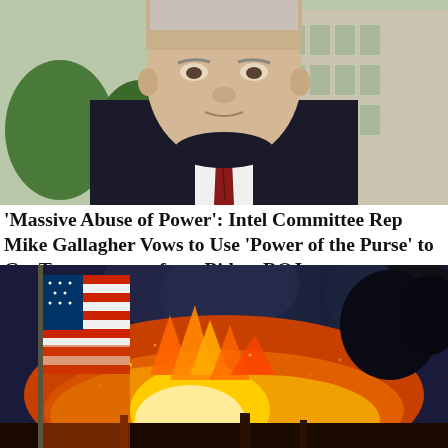[Figure (photo): Close-up photo of an older man in a dark suit with a red-striped tie, standing in front of a government building with trees in the background.]
'Massive Abuse of Power': Intel Committee Rep Mike Gallagher Vows to Use 'Power of the Purse' to Get Transparency from Biden, DOJ
[Figure (photo): Photo of a large fire at night with an American flag visible on the left side amid bright orange and yellow flames and embers.]